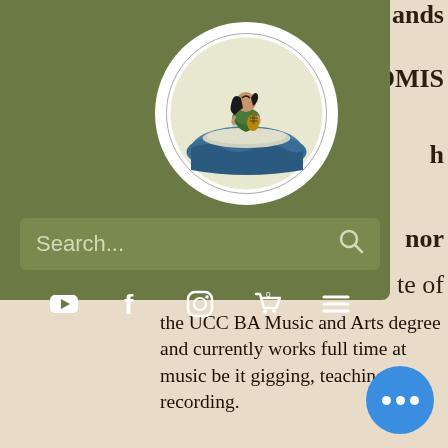[Figure (logo): The Island of Music circular logo featuring a woman sitting cross-legged playing a ukulele, seated on a floating island over ocean waves, with text 'The Island of Music' around the border]
Search...
[Figure (infographic): Navigation icon row with YouTube, Facebook, Instagram, shopping cart, and hamburger menu icons in white on olive green background]
the UCC BA Music and Arts degree and currently works full time at music be it gigging, teaching or recording.
My Classes
I'm based in Cork City and teach banjo, mandolin and acoustic electric guitar for all levels. The